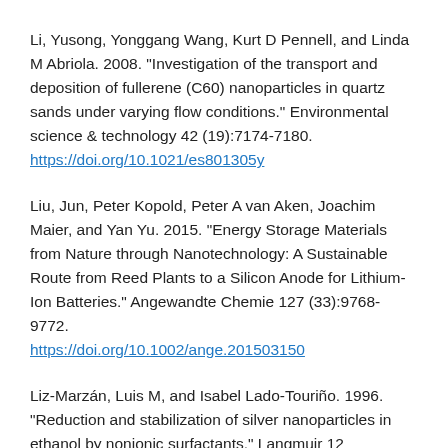Li, Yusong, Yonggang Wang, Kurt D Pennell, and Linda M Abriola. 2008. "Investigation of the transport and deposition of fullerene (C60) nanoparticles in quartz sands under varying flow conditions." Environmental science & technology 42 (19):7174-7180. https://doi.org/10.1021/es801305y
Liu, Jun, Peter Kopold, Peter A van Aken, Joachim Maier, and Yan Yu. 2015. "Energy Storage Materials from Nature through Nanotechnology: A Sustainable Route from Reed Plants to a Silicon Anode for Lithium-Ion Batteries." Angewandte Chemie 127 (33):9768-9772. https://doi.org/10.1002/ange.201503150
Liz-Marzán, Luis M, and Isabel Lado-Touriño. 1996. "Reduction and stabilization of silver nanoparticles in ethanol by nonionic surfactants." Langmuir 12 (15):3585-3589. https://doi.org/10.1021/la951501a